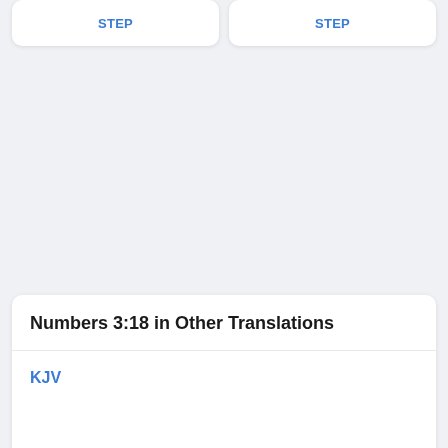STEP
STEP
Numbers 3:18 in Other Translations
KJV